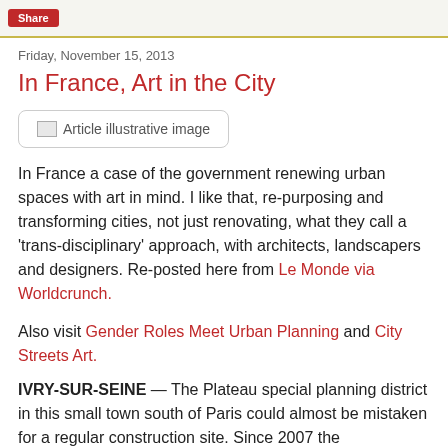Share
Friday, November 15, 2013
In France, Art in the City
[Figure (photo): Article illustrative image placeholder]
In France a case of the government renewing urban spaces with art in mind. I like that, re-purposing and transforming cities, not just renovating, what they call a 'trans-disciplinary' approach, with architects, landscapers and designers. Re-posted here from Le Monde via Worldcrunch.
Also visit Gender Roles Meet Urban Planning and City Streets Art.
IVRY-SUR-SEINE — The Plateau special planning district in this small town south of Paris could almost be mistaken for a regular construction site. Since 2007 the multidisciplinary artist Stefan Shankland has guided the construction of some